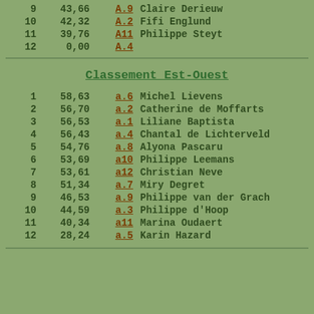| Rank | Score | Code | Name |
| --- | --- | --- | --- |
| 9 | 43,66 | A.9 | Claire Derieuw |
| 10 | 42,32 | A.2 | Fifi Englund |
| 11 | 39,76 | A11 | Philippe Steyt |
| 12 | 0,00 | A.4 |  |
Classement Est-Ouest
| Rank | Score | Code | Name |
| --- | --- | --- | --- |
| 1 | 58,63 | a.6 | Michel Lievens |
| 2 | 56,70 | a.2 | Catherine de Moffarts |
| 3 | 56,53 | a.1 | Liliane Baptista |
| 4 | 56,43 | a.4 | Chantal de Lichterveld |
| 5 | 54,76 | a.8 | Alyona Pascaru |
| 6 | 53,69 | a10 | Philippe Leemans |
| 7 | 53,61 | a12 | Christian Neve |
| 8 | 51,34 | a.7 | Miry Degret |
| 9 | 46,53 | a.9 | Philippe van der Grach |
| 10 | 44,59 | a.3 | Philippe d'Hoop |
| 11 | 40,34 | a11 | Marina Oudaert |
| 12 | 28,24 | a.5 | Karin Hazard |